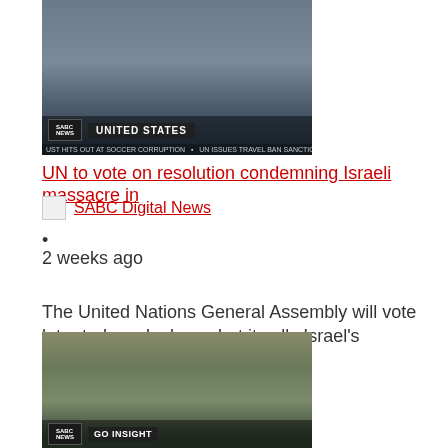[Figure (screenshot): SABC News broadcast screenshot showing woman at UN meeting with 'UNITED STATES' nameplate, news ticker at bottom]
UN to vote on resolution condemning Israeli massacre in
[Figure (logo): Small SABC News icon/thumbnail]
SABC Digital News
•
2 weeks ago
The United Nations General Assembly will vote later toda… deplore what it calls Israel's "excessive ...
[Figure (screenshot): SABC News broadcast screenshot showing people at UN General Assembly, with 'GO INSIGHT' lower third]